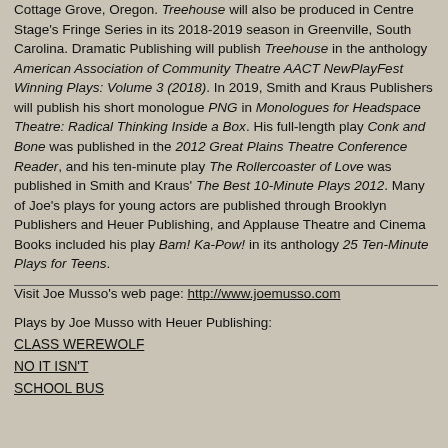Cottage Grove, Oregon. Treehouse will also be produced in Centre Stage's Fringe Series in its 2018-2019 season in Greenville, South Carolina. Dramatic Publishing will publish Treehouse in the anthology American Association of Community Theatre AACT NewPlayFest Winning Plays: Volume 3 (2018). In 2019, Smith and Kraus Publishers will publish his short monologue PNG in Monologues for Headspace Theatre: Radical Thinking Inside a Box. His full-length play Conk and Bone was published in the 2012 Great Plains Theatre Conference Reader, and his ten-minute play The Rollercoaster of Love was published in Smith and Kraus' The Best 10-Minute Plays 2012. Many of Joe's plays for young actors are published through Brooklyn Publishers and Heuer Publishing, and Applause Theatre and Cinema Books included his play Bam! Ka-Pow! in its anthology 25 Ten-Minute Plays for Teens.
Visit Joe Musso's web page: http://www.joemusso.com
Plays by Joe Musso with Heuer Publishing:
CLASS WEREWOLF
NO IT ISN'T
SCHOOL BUS